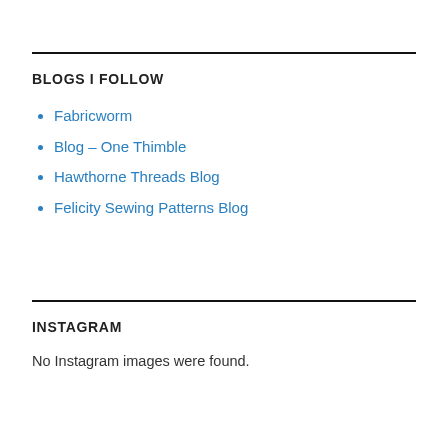BLOGS I FOLLOW
Fabricworm
Blog – One Thimble
Hawthorne Threads Blog
Felicity Sewing Patterns Blog
INSTAGRAM
No Instagram images were found.